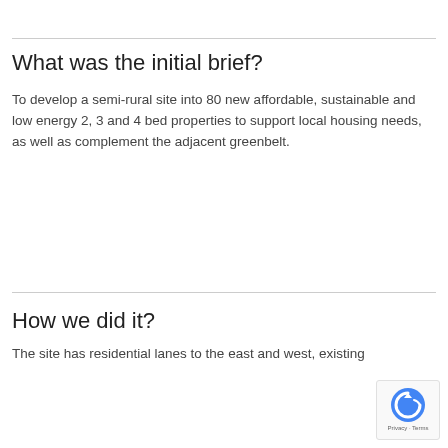What was the initial brief?
To develop a semi-rural site into 80 new affordable, sustainable and low energy 2, 3 and 4 bed properties to support local housing needs, as well as complement the adjacent greenbelt.
How we did it?
The site has residential lanes to the east and west, existing